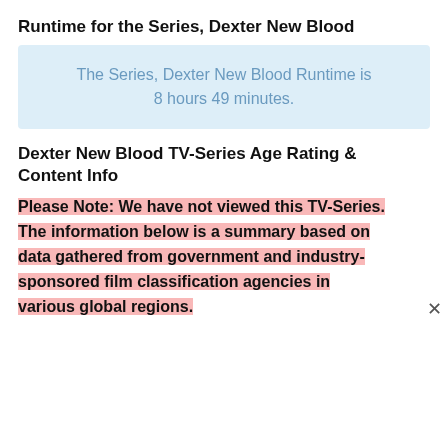Runtime for the Series, Dexter New Blood
The Series, Dexter New Blood Runtime is 8 hours 49 minutes.
Dexter New Blood TV-Series Age Rating & Content Info
Please Note: We have not viewed this TV-Series. The information below is a summary based on data gathered from government and industry-sponsored film classification agencies in various global regions.